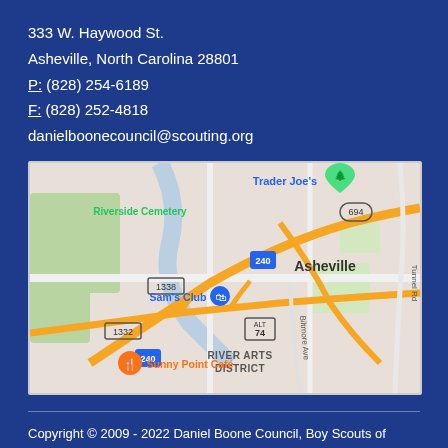333 W. Haywood St.
Asheville, North Carolina 28801
P: (828) 254-6189
F: (828) 252-4818
danielboonecouncil@scouting.org
[Figure (map): Google Map showing Asheville, NC area with landmarks including Trader Joe's, Riverside Cemetery, Sam's Club, River Arts District, Sunny Point Café, and major roads including I-240, Route 74, and Biltmore Ave.]
Copyright © 2009 - 2022 Daniel Boone Council, Boy Scouts of America. All rights reserved.